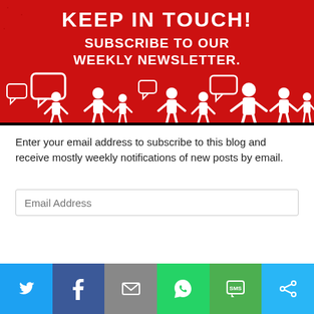[Figure (illustration): Red banner with white silhouette figures and speech bubbles, text reads 'KEEP IN TOUCH! SUBSCRIBE TO OUR WEEKLY NEWSLETTER.']
Enter your email address to subscribe to this blog and receive mostly weekly notifications of new posts by email.
[Figure (other): Email Address input field with placeholder text 'Email Address']
[Figure (other): Green SUBSCRIBE button]
[Figure (other): Social sharing bar with Twitter, Facebook, Email, WhatsApp, SMS, and Share buttons]